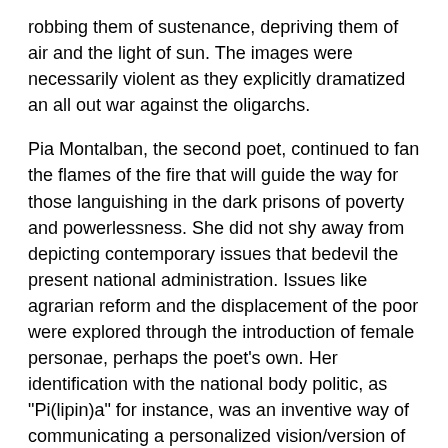robbing them of sustenance, depriving them of air and the light of sun. The images were necessarily violent as they explicitly dramatized an all out war against the oligarchs.
Pia Montalban, the second poet, continued to fan the flames of the fire that will guide the way for those languishing in the dark prisons of poverty and powerlessness. She did not shy away from depicting contemporary issues that bedevil the present national administration. Issues like agrarian reform and the displacement of the poor were explored through the introduction of female personae, perhaps the poet's own. Her identification with the national body politic, as "Pi(lipin)a" for instance, was an inventive way of communicating a personalized vision/version of reality at the mercy of capitalism. The latter was a threat to sustaining the things that make humans human, like love.
In "Tunay na Sining" (True Art), Montalban probably described the three poets' unified ars poetica, their collective aesthetics of resistance. Here's an excerpt: